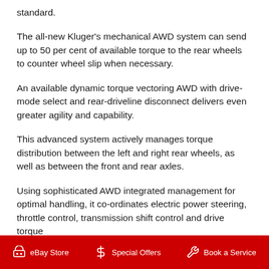standard.
The all-new Kluger's mechanical AWD system can send up to 50 per cent of available torque to the rear wheels to counter wheel slip when necessary.
An available dynamic torque vectoring AWD with drive-mode select and rear-driveline disconnect delivers even greater agility and capability.
This advanced system actively manages torque distribution between the left and right rear wheels, as well as between the front and rear axles.
Using sophisticated AWD integrated management for optimal handling, it co-ordinates electric power steering, throttle control, transmission shift control and drive torque
eBay Store   Special Offers   Book a Service